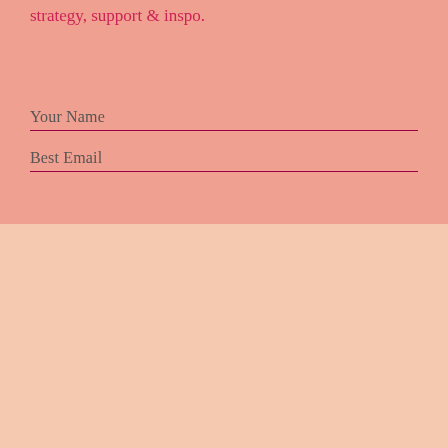strategy, support & inspo.
Your Name
Best Email
[Figure (logo): Circular golden logo with decorative floral/fruit elements surrounding a large letter F in the center]